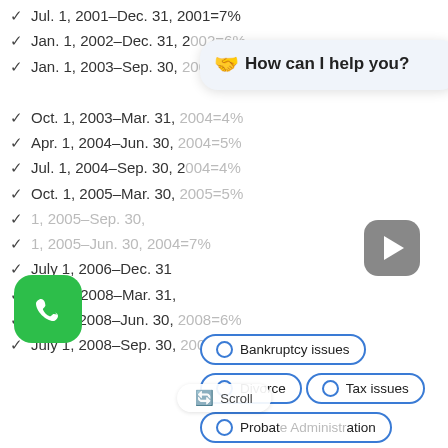✓ Jul. 1, 2001–Dec. 31, 2001=7%
✓ Jan. 1, 2002–Dec. 31, 2002=…
✓ Jan. 1, 2003–Sep. 30, 2003=5%
✓ Oct. 1, 2003–Mar. 31, 2004=4%
✓ Apr. 1, 2004–Jun. 30, 2004=5%
✓ Jul. 1, 2004–Sep. 30, 2004=4%
✓ Oct. 1, 2005–Mar. 30, 2005=5%
✓ …2005–Sep. 30, …
✓ …2005–Jun. 30, 2004=7%
✓ July 1, 2006–Dec. 31, …
✓ Jan. 1, 2008–Mar. 31, …
✓ Apr. 1, 2008–Jun. 30, 2008=6%
✓ July 1, 2008–Sep. 30, 2008=5%
[Figure (screenshot): Chat overlay with 'How can I help you?' header and topic options: Bankruptcy issues, Divorce, Tax issues, Probate Administration; also shows a play button, phone button, and Scroll button.]